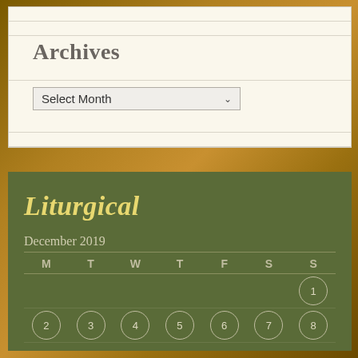Archives
Select Month
Liturgical
| M | T | W | T | F | S | S |
| --- | --- | --- | --- | --- | --- | --- |
|  |  |  |  |  |  | 1 |
| 2 | 3 | 4 | 5 | 6 | 7 | 8 |